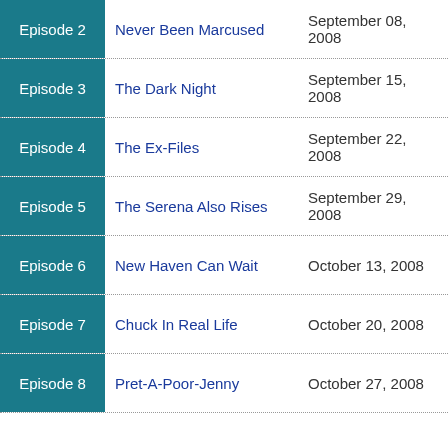| Episode | Title | Air Date |
| --- | --- | --- |
| Episode 2 | Never Been Marcused | September 08, 2008 |
| Episode 3 | The Dark Night | September 15, 2008 |
| Episode 4 | The Ex-Files | September 22, 2008 |
| Episode 5 | The Serena Also Rises | September 29, 2008 |
| Episode 6 | New Haven Can Wait | October 13, 2008 |
| Episode 7 | Chuck In Real Life | October 20, 2008 |
| Episode 8 | Pret-A-Poor-Jenny | October 27, 2008 |